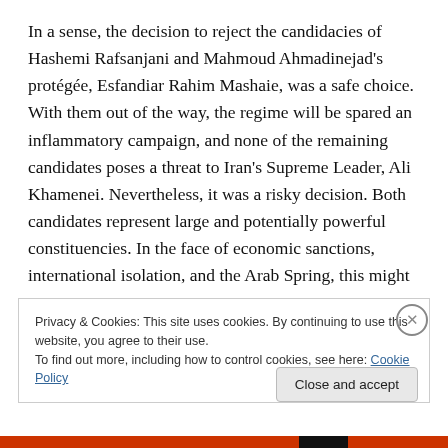In a sense, the decision to reject the candidacies of Hashemi Rafsanjani and Mahmoud Ahmadinejad's protégée, Esfandiar Rahim Mashaie, was a safe choice. With them out of the way, the regime will be spared an inflammatory campaign, and none of the remaining candidates poses a threat to Iran's Supreme Leader, Ali Khamenei. Nevertheless, it was a risky decision. Both candidates represent large and potentially powerful constituencies. In the face of economic sanctions, international isolation, and the Arab Spring, this might not
Privacy & Cookies: This site uses cookies. By continuing to use this website, you agree to their use.
To find out more, including how to control cookies, see here: Cookie Policy
Close and accept